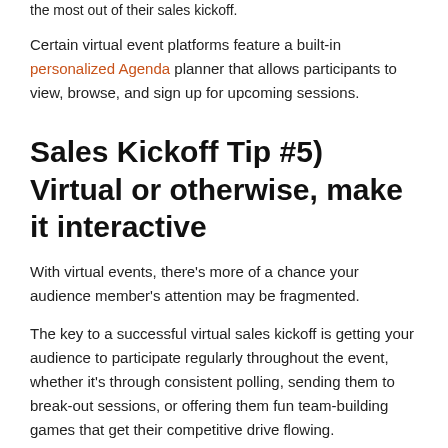the most out of their sales kickoff.
Certain virtual event platforms feature a built-in personalized Agenda planner that allows participants to view, browse, and sign up for upcoming sessions.
Sales Kickoff Tip #5) Virtual or otherwise, make it interactive
With virtual events, there's more of a chance your audience member's attention may be fragmented.
The key to a successful virtual sales kickoff is getting your audience to participate regularly throughout the event, whether it's through consistent polling, sending them to break-out sessions, or offering them fun team-building games that get their competitive drive flowing.
There's nothing worse than a boring event or presentation where the audience doesn't feel like they're heard or important. Adding interactivity keeps your participants